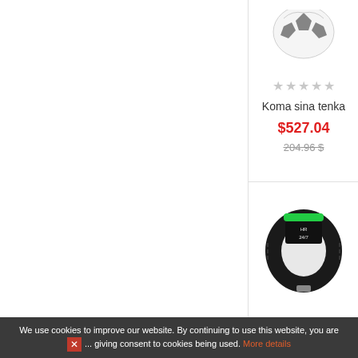[Figure (photo): Soccer ball photo partially visible at top of right column]
★★★★★ (empty stars rating)
Koma sina tenka
$527.04
204.96 $
[Figure (photo): Black fitness/smart wristband tracker with green LED display showing HR and 24/7 text, rubber strap with ridges]
★★★★★ (empty stars rating)
Kire tuma poten
$37.44
We use cookies to improve our website. By continuing to use this website, you are giving consent to cookies being used. More details